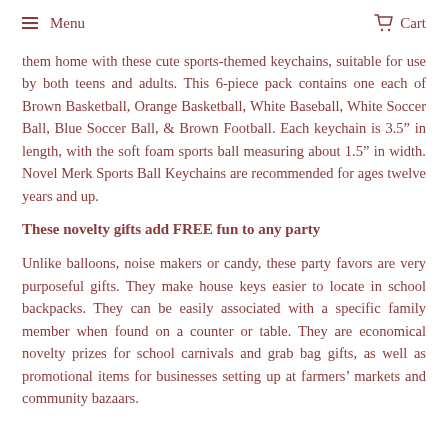Menu   Cart
them home with these cute sports-themed keychains, suitable for use by both teens and adults. This 6-piece pack contains one each of Brown Basketball, Orange Basketball, White Baseball, White Soccer Ball, Blue Soccer Ball, & Brown Football. Each keychain is 3.5″ in length, with the soft foam sports ball measuring about 1.5″ in width. Novel Merk Sports Ball Keychains are recommended for ages twelve years and up.
These novelty gifts add FREE fun to any party
Unlike balloons, noise makers or candy, these party favors are very purposeful gifts. They make house keys easier to locate in school backpacks. They can be easily associated with a specific family member when found on a counter or table. They are economical novelty prizes for school carnivals and grab bag gifts, as well as promotional items for businesses setting up at farmers' markets and community bazaars.